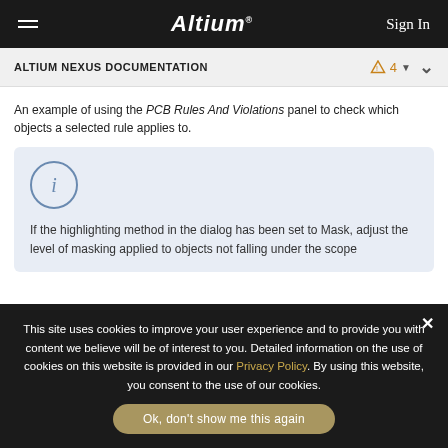Altium  Sign In
ALTIUM NEXUS DOCUMENTATION
An example of using the PCB Rules And Violations panel to check which objects a selected rule applies to.
If the highlighting method in the dialog has been set to Mask, adjust the level of masking applied to objects not falling under the scope of the active filter by using the Masked Objects slider...
This site uses cookies to improve your user experience and to provide you with content we believe will be of interest to you. Detailed information on the use of cookies on this website is provided in our Privacy Policy. By using this website, you consent to the use of our cookies.
Ok, don't show me this again